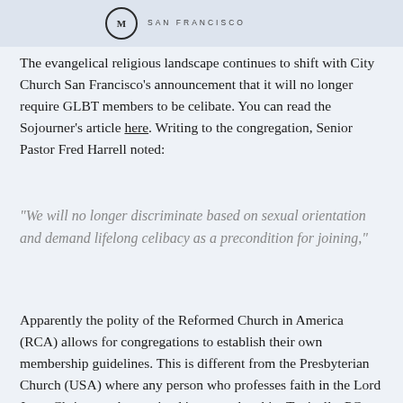[Figure (logo): City Church San Francisco logo with circular emblem and 'SAN FRANCISCO' text in spaced capitals]
The evangelical religious landscape continues to shift with City Church San Francisco's announcement that it will no longer require GLBT members to be celibate. You can read the Sojourner's article here. Writing to the congregation, Senior Pastor Fred Harrell noted:
“We will no longer discriminate based on sexual orientation and demand lifelong celibacy as a precondition for joining,”
Apparently the polity of the Reformed Church in America (RCA) allows for congregations to establish their own membership guidelines. This is different from the Presbyterian Church (USA) where any person who professes faith in the Lord Jesus Christ may be received into membership. Typically, PC (USA) churches, even